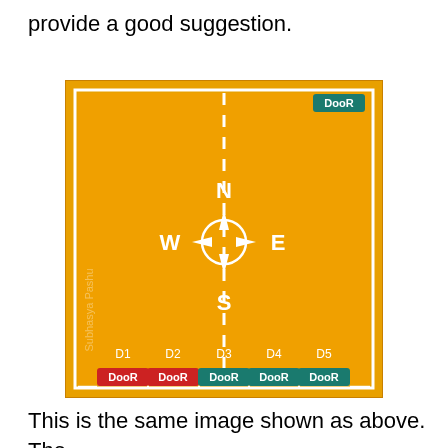provide a good suggestion.
[Figure (schematic): Floor plan diagram with orange background showing a compass rose (N/W/E/S) in the center, a vertical dashed line from north to south, and door labels: one DooR label in the top-right corner, and five doors (D1-D5) along the bottom edge each labeled DooR with colored badges (red for D1, D2; teal/blue for D3, D4, D5). A watermark 'Subhasya Pashu' appears on the left side.]
This is the same image shown as above. The difference is the North door moved to Northern